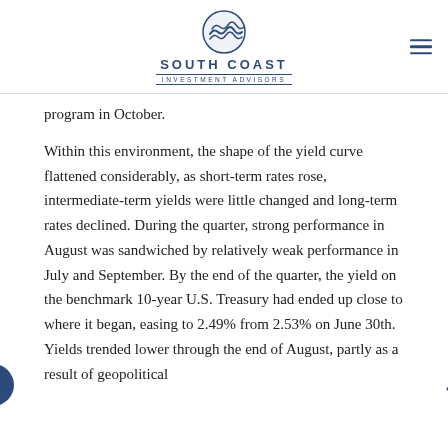SOUTH COAST INVESTMENT ADVISORS
program in October.
Within this environment, the shape of the yield curve flattened considerably, as short-term rates rose, intermediate-term yields were little changed and long-term rates declined. During the quarter, strong performance in August was sandwiched by relatively weak performance in July and September. By the end of the quarter, the yield on the benchmark 10-year U.S. Treasury had ended up close to where it began, easing to 2.49% from 2.53% on June 30th. Yields trended lower through the end of August, partly as a result of geopolitical